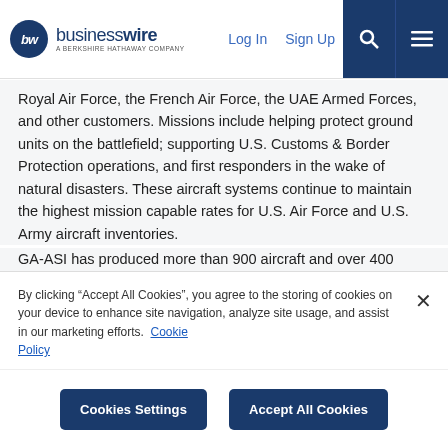businesswire — A Berkshire Hathaway Company | Log In | Sign Up
Royal Air Force, the French Air Force, the UAE Armed Forces, and other customers. Missions include helping protect ground units on the battlefield; supporting U.S. Customs & Border Protection operations, and first responders in the wake of natural disasters. These aircraft systems continue to maintain the highest mission capable rates for U.S. Air Force and U.S. Army aircraft inventories.
GA-ASI has produced more than 900 aircraft and over 400 Ground Control Stations (GCS). In addition to RPA and GCS, GA-ASI also produces Processing, Exploitation and Dissemination (PED) systems as well as sensor payloads that deliver radar and video imagery, detect moving targets on the ground and over water, and
By clicking “Accept All Cookies”, you agree to the storing of cookies on your device to enhance site navigation, analyze site usage, and assist in our marketing efforts.  Cookie Policy
Cookies Settings | Accept All Cookies